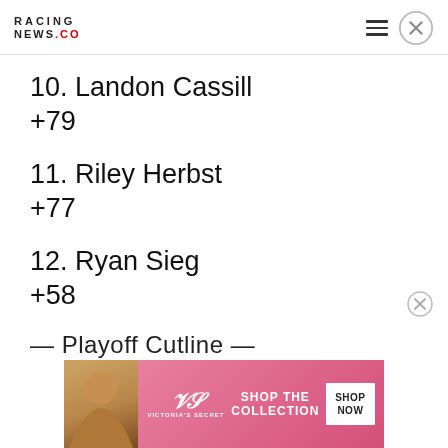RACING NEWS.CO
10. Landon Cassill
+79
11. Riley Herbst
+77
12. Ryan Sieg
+58
— Playoff Cutline —
[Figure (photo): Victoria's Secret advertisement banner with model, VS logo, 'SHOP THE COLLECTION' text, and 'SHOP NOW' button]